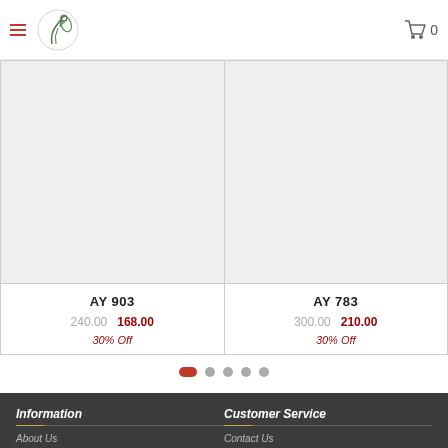Navigation header with hamburger menu, logo, and cart icon showing 0 items
[Figure (screenshot): Product card for AY 903 showing light grey placeholder image]
AY 903
240.00  168.00
30% Off
[Figure (screenshot): Product card for AY 783 showing light grey placeholder image]
AY 783
300.00  210.00
30% Off
[Figure (other): Carousel pagination dots: 5 dots, first one active (red/dark), others grey]
Information
About Us
Delivery Information
Privacy Policy
Customer Service
Contact Us
Track Package
Payments